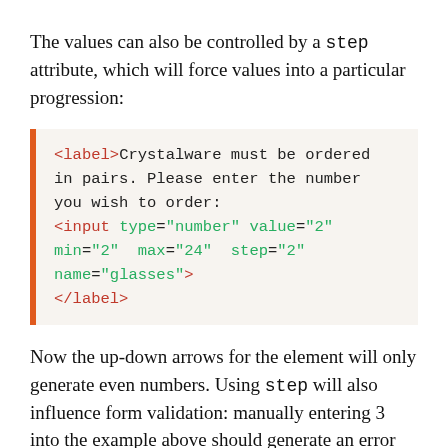The values can also be controlled by a step attribute, which will force values into a particular progression:
[Figure (screenshot): Code block with orange left border showing HTML label and input elements with type=number, value=2, min=2, max=24, step=2, name=glasses]
Now the up-down arrows for the element will only generate even numbers. Using step will also influence form validation: manually entering 3 into the example above should generate an error